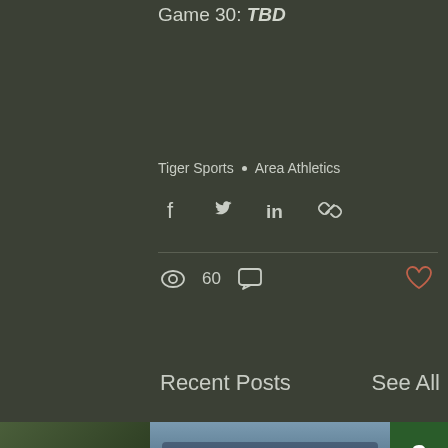Game 30: TBD
Tiger Sports  •  Area Athletics
Share via Facebook, Twitter, LinkedIn, Link
60 views, 0 comments
Recent Posts
See All
[Figure (photo): Group photo of youth sports team in blue uniforms and hats at an outdoor event, with numbers 2, 4, 0 visible on right side badges]
[Figure (photo): Partial view of a baseball/softball field on left side]